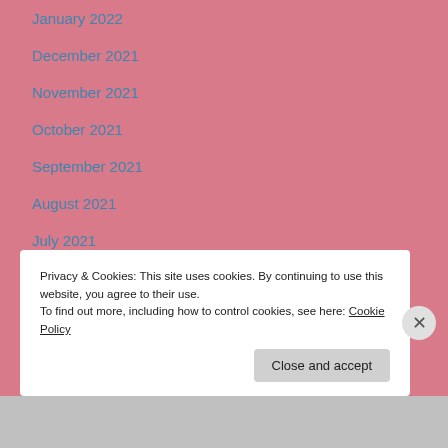January 2022
December 2021
November 2021
October 2021
September 2021
August 2021
July 2021
June 2021
May 2021
Privacy & Cookies: This site uses cookies. By continuing to use this website, you agree to their use.
To find out more, including how to control cookies, see here: Cookie Policy
Close and accept